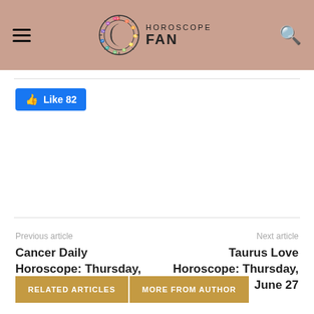HOROSCOPE FAN
[Figure (logo): Horoscope Fan website logo with zodiac circle and text]
Like 82
Previous article
Cancer Daily Horoscope: Thursday, June 27
Next article
Taurus Love Horoscope: Thursday, June 27
RELATED ARTICLES    MORE FROM AUTHOR